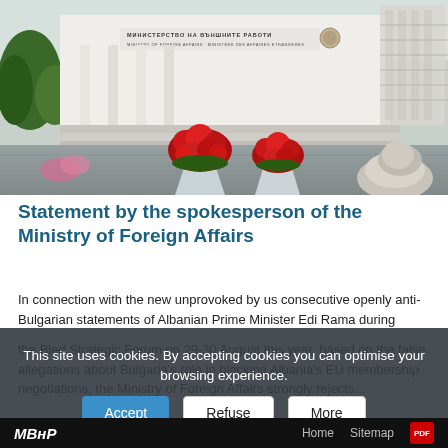[Figure (photo): Ministry of Foreign Affairs building exterior with Cyrillic signage, columns, red rose flower pots in the foreground, trees on the left, and a stone sculpture on the right.]
Statement by the spokesperson of the Ministry of Foreign Affairs
In connection with the new unprovoked by us consecutive openly anti-Bulgarian statements of Albanian Prime Minister Edi Rama during the Bled Strategic Forum on 29-30 August this year, based on the false allegations about Bulgaria's role in blocking Albania's EU membership negotiations, the Ministry of Foreign Affairs strongly rejects...
This site uses cookies. By accepting cookies you can optimise your browsing experience.
МВнР   Home   Sitemap